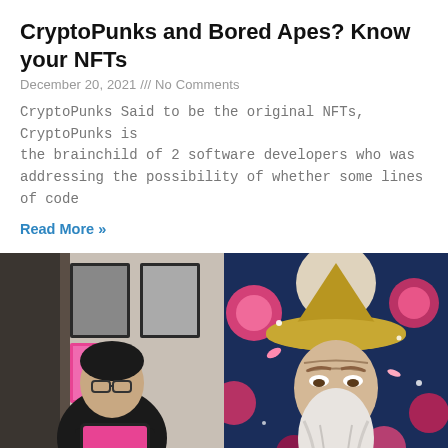CryptoPunks and Bored Apes? Know your NFTs
December 20, 2021 /// No Comments
CryptoPunks Said to be the original NFTs, CryptoPunks is the brainchild of 2 software developers who was addressing the possibility of whether some lines of code
Read More »
[Figure (photo): Left: Person wearing glasses and black t-shirt holding a tablet displaying colorful NFT artwork. Right: Illustrated NFT artwork of an old ape character wearing a conical hat with floral background.]
Top NFT Artists in Malaysia...